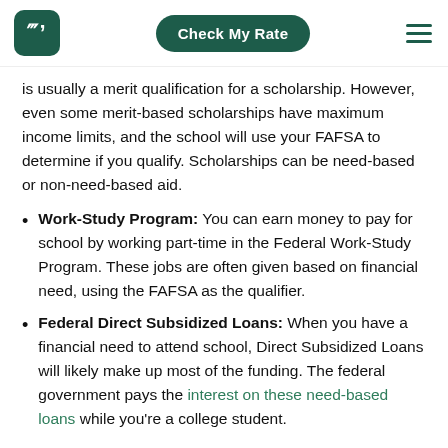Check My Rate
is usually a merit qualification for a scholarship. However, even some merit-based scholarships have maximum income limits, and the school will use your FAFSA to determine if you qualify. Scholarships can be need-based or non-need-based aid.
Work-Study Program: You can earn money to pay for school by working part-time in the Federal Work-Study Program. These jobs are often given based on financial need, using the FAFSA as the qualifier.
Federal Direct Subsidized Loans: When you have a financial need to attend school, Direct Subsidized Loans will likely make up most of the funding. The federal government pays the interest on these need-based loans while you're a college student.